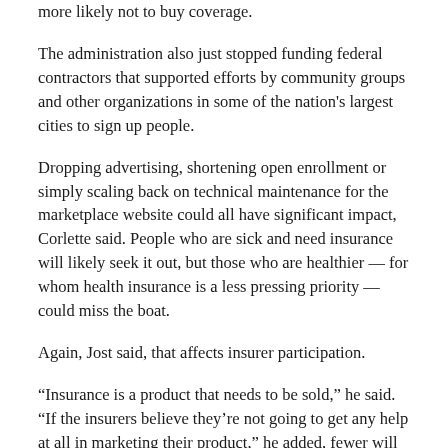more likely not to buy coverage.
The administration also just stopped funding federal contractors that supported efforts by community groups and other organizations in some of the nation's largest cities to sign up people.
Dropping advertising, shortening open enrollment or simply scaling back on technical maintenance for the marketplace website could all have significant impact, Corlette said. People who are sick and need insurance will likely seek it out, but those who are healthier — for whom health insurance is a less pressing priority — could miss the boat.
Again, Jost said, that affects insurer participation.
“Insurance is a product that needs to be sold,” he said. “If the insurers believe they’re not going to get any help at all in marketing their product,” he added, fewer will want to enter the marketplace.
Word of (bad) mouth